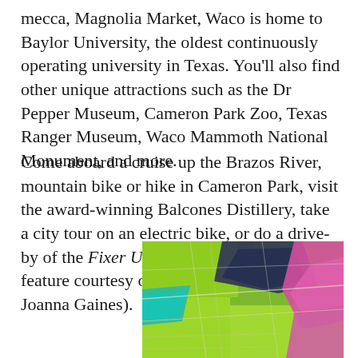mecca, Magnolia Market, Waco is home to Baylor University, the oldest continuously operating university in Texas. You'll also find other unique attractions such as the Dr Pepper Museum, Cameron Park Zoo, Texas Ranger Museum, Waco Mammoth National Monument, and more.
Come aboard a cruise up the Brazos River, mountain bike or hike in Cameron Park, visit the award-winning Balcones Distillery, take a city tour on an electric bike, or do a drive-by of the Fixer Upper homes (another feature courtesy of HGTV stars Chip and Joanna Gaines).
[Figure (photo): Aerial or satellite-style colorful map image showing fields and terrain in shades of green, teal, pink/magenta, and dark blue-purple, with geometric shapes and lines suggesting roads or field boundaries.]